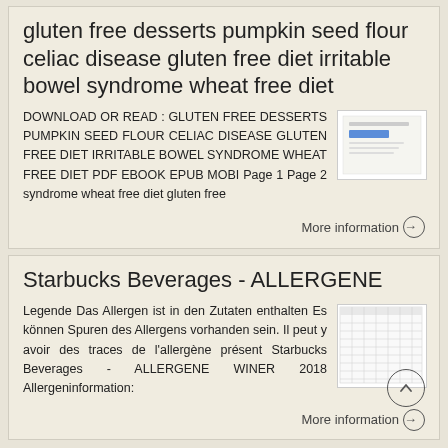gluten free desserts pumpkin seed flour celiac disease gluten free diet irritable bowel syndrome wheat free diet
DOWNLOAD OR READ : GLUTEN FREE DESSERTS PUMPKIN SEED FLOUR CELIAC DISEASE GLUTEN FREE DIET IRRITABLE BOWEL SYNDROME WHEAT FREE DIET PDF EBOOK EPUB MOBI Page 1 Page 2 syndrome wheat free diet gluten free
[Figure (screenshot): Small thumbnail image of a document cover]
More information
Starbucks Beverages - ALLERGENE
Legende Das Allergen ist in den Zutaten enthalten Es können Spuren des Allergens vorhanden sein. Il peut y avoir des traces de l'allergène présent Starbucks Beverages - ALLERGENE WINER 2018 Allergeninformation:
[Figure (screenshot): Small thumbnail image of a table/spreadsheet document]
More information